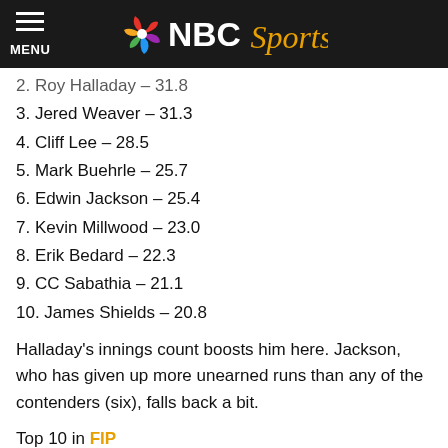NBC Sports
2. Roy Halladay – 31.8
3. Jered Weaver – 31.3
4. Cliff Lee – 28.5
5. Mark Buehrle – 25.7
6. Edwin Jackson – 25.4
7. Kevin Millwood – 23.0
8. Erik Bedard – 22.3
9. CC Sabathia – 21.1
10. James Shields – 20.8
Halladay's innings count boosts him here. Jackson, who has given up more unearned runs than any of the contenders (six), falls back a bit.
Top 10 in FIP
1. Zack Greinke – 1.57
2. Justin Verlander – 2.21